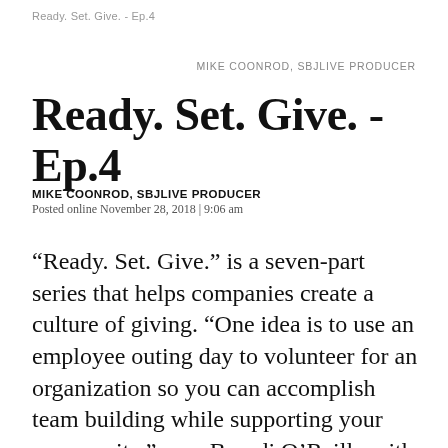Ready. Set. Give. - Ep.4
MIKE COONROD, SBJLIVE PRODUCER
Ready. Set. Give. - Ep.4
MIKE COONROD, SBJLIVE PRODUCER
Posted online November 28, 2018 | 9:06 am
“Ready. Set. Give.” is a seven-part series that helps companies create a culture of giving. “One idea is to use an employee outing day to volunteer for an organization so you can accomplish team building while supporting your community,” says Brandi O’Reilly with Dynamic Strides Therapy. Dynamic Strides offers outpatient therapy as well as equine therapy. Volunteers can walk alongside patients and their horse for safety and to